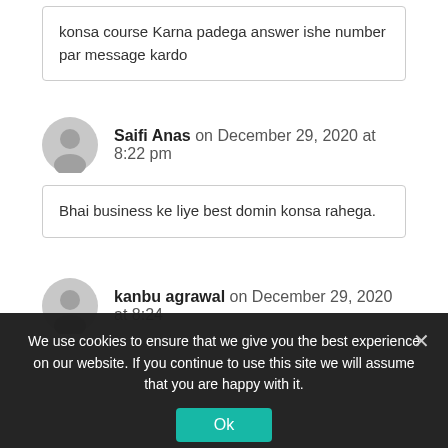konsa course Karna padega answer ishe number par message kardo
Saifi Anas on December 29, 2020 at 8:22 pm
Bhai business ke liye best domin konsa rahega.
kanbu agrawal on December 29, 2020 at 8:24
We use cookies to ensure that we give you the best experience on our website. If you continue to use this site we will assume that you are happy with it.